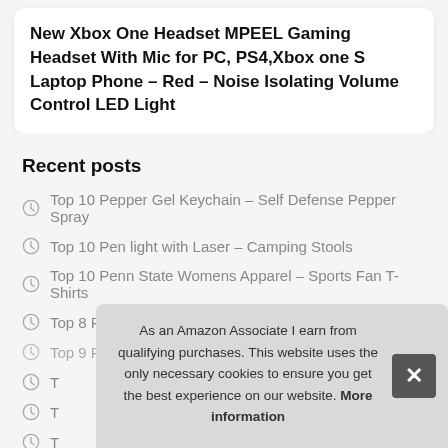New Xbox One Headset MPEEL Gaming Headset With Mic for PC, PS4,Xbox one S Laptop Phone – Red – Noise Isolating Volume Control LED Light
Recent posts
Top 10 Pepper Gel Keychain – Self Defense Pepper Spray
Top 10 Pen light with Laser – Camping Stools
Top 10 Penn State Womens Apparel – Sports Fan T-Shirts
Top 8 Penn Tennis Balls Extra Duty – Tennis Balls
Top 9 Pellet Rifle Scope – Rifle Scopes
T
T
T
As an Amazon Associate I earn from qualifying purchases. This website uses the only necessary cookies to ensure you get the best experience on our website. More information